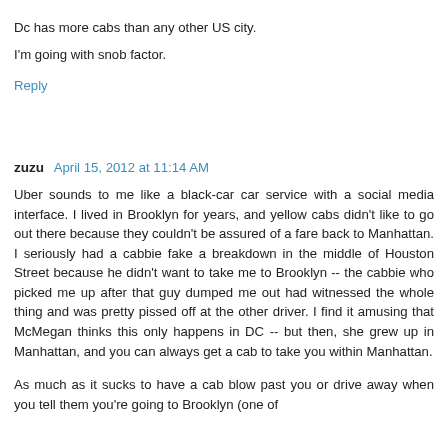Dc has more cabs than any other US city.
I'm going with snob factor.
Reply
zuzu  April 15, 2012 at 11:14 AM
Uber sounds to me like a black-car car service with a social media interface. I lived in Brooklyn for years, and yellow cabs didn't like to go out there because they couldn't be assured of a fare back to Manhattan. I seriously had a cabbie fake a breakdown in the middle of Houston Street because he didn't want to take me to Brooklyn -- the cabbie who picked me up after that guy dumped me out had witnessed the whole thing and was pretty pissed off at the other driver. I find it amusing that McMegan thinks this only happens in DC -- but then, she grew up in Manhattan, and you can always get a cab to take you within Manhattan.
As much as it sucks to have a cab blow past you or drive away when you tell them you're going to Brooklyn (one of